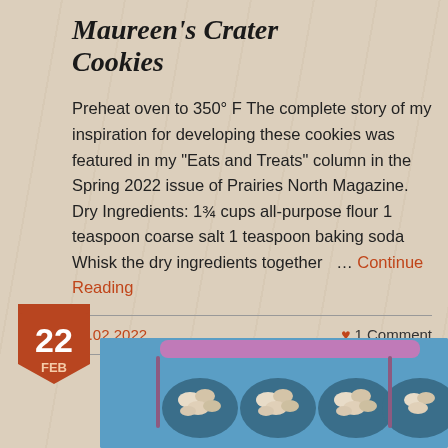Maureen's Crater Cookies
Preheat oven to 350° F The complete story of my inspiration for developing these cookies was featured in my "Eats and Treats" column in the Spring 2022 issue of Prairies North Magazine.   Dry Ingredients: 1¾ cups all-purpose flour 1 teaspoon coarse salt 1 teaspoon baking soda Whisk the dry ingredients together   …  Continue Reading
23.02.2022
♥ 1 Comment
[Figure (photo): A muffin/cupcake tin with blue and purple silicone tray containing crater cookies, viewed from above on a blue background]